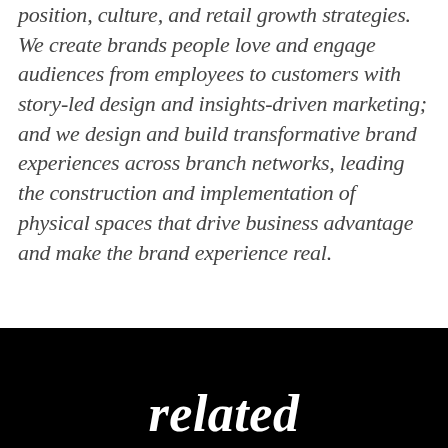position, culture, and retail growth strategies. We create brands people love and engage audiences from employees to customers with story-led design and insights-driven marketing; and we design and build transformative brand experiences across branch networks, leading the construction and implementation of physical spaces that drive business advantage and make the brand experience real.
related